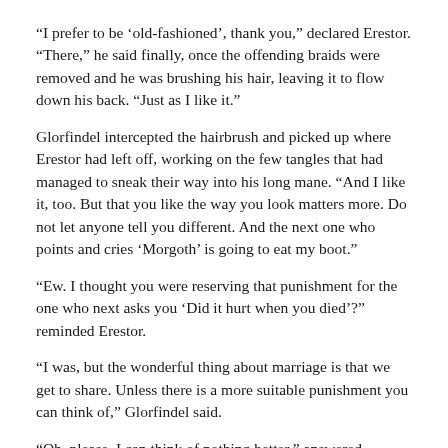“I prefer to be ‘old-fashioned’, thank you,” declared Erestor. “There,” he said finally, once the offending braids were removed and he was brushing his hair, leaving it to flow down his back. “Just as I like it.”
Glorfindel intercepted the hairbrush and picked up where Erestor had left off, working on the few tangles that had managed to sneak their way into his long mane. “And I like it, too. But that you like the way you look matters more. Do not let anyone tell you different. And the next one who points and cries ‘Morgoth’ is going to eat my boot.”
“Ew. I thought you were reserving that punishment for the one who next asks you ‘Did it hurt when you died’?” reminded Erestor.
“I was, but the wonderful thing about marriage is that we get to share. Unless there is a more suitable punishment you can think of,” Glorfindel said.
“Oh, please, I can think of nothing better,” answered Erestor. “And on that note, shall we join our gracious hosts for the morning meal?”